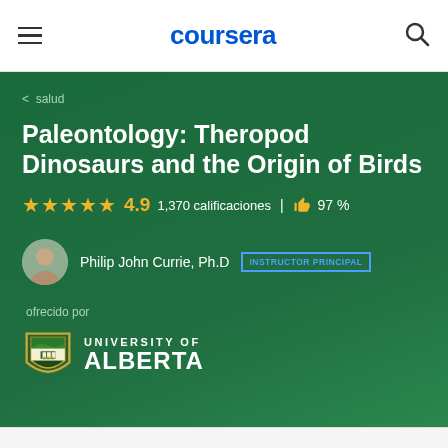coursera
< salud
Paleontology: Theropod Dinosaurs and the Origin of Birds
★★★★★ 4.9  1,370 calificaciones  |  👍 97 %
Philip John Currie, Ph.D  INSTRUCTOR PRINCIPAL
ofrecido por
[Figure (logo): University of Alberta shield logo with green and gold colors]
UNIVERSITY OF ALBERTA